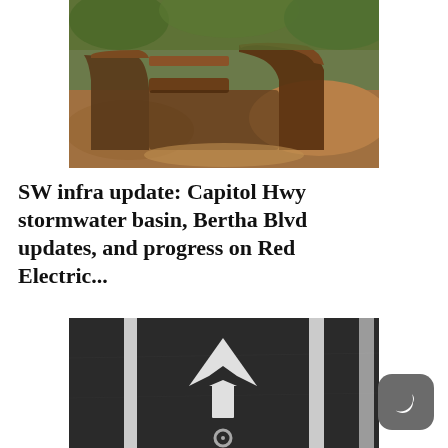[Figure (photo): Outdoor photo showing large curved rusted metal stormwater basin infrastructure set into a dirt hillside with green trees in the background]
SW infra update: Capitol Hwy stormwater basin, Bertha Blvd updates, and progress on Red Electric...
[Figure (photo): Close-up photo of dark asphalt road surface with white painted lane markings including a forward-pointing arrow and a bicycle lane symbol]